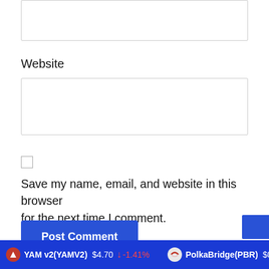[Figure (screenshot): Empty text input box at top of page]
Website
[Figure (screenshot): Empty text input box for website URL]
[Figure (screenshot): Unchecked checkbox]
Save my name, email, and website in this browser for the next time I comment.
[Figure (screenshot): Post Comment button (blue)]
YAM v2(YAMV2) $4.70 ↓ -1.41%   PolkaBridge(PBR) $0.439876